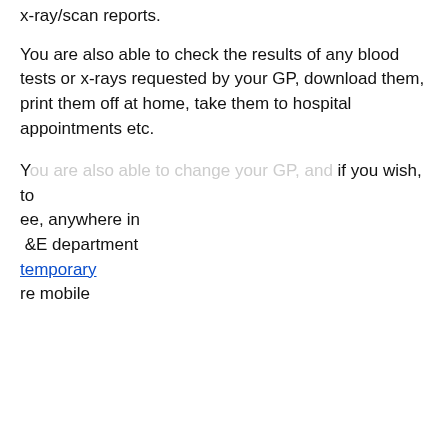x-ray/scan reports.
You are also able to check the results of any blood tests or x-rays requested by your GP, download them, print them off at home, take them to hospital appointments etc.
You are also able to change your GP, and if you wish, to see, anywhere in ... A&E department ... temporary ... re mobile
[Figure (screenshot): Cookie consent modal dialog with dark background. Title: 'This website uses cookies'. Body text about cookies with a link 'read more about our cookies'. Four checkboxes: STRICTLY NECESSARY (checked), PERFORMANCE (unchecked), TARGETING (unchecked), FUNCTIONALITY (unchecked). Two buttons: 'ACCEPT ALL' (green) and 'DECLINE ALL' (outline).]
...not will not ...y an additional ... dical record is ...has already ...eat ...and you wish to ...in to the ...surgery/with your practice to ... care reception team will activate this facility. We appreciate that you may have